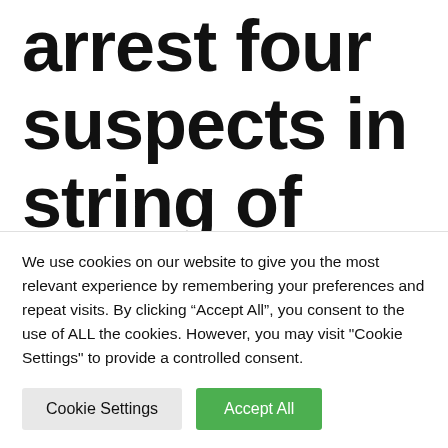arrest four suspects in string of nine armed robberies after victim shoots
We use cookies on our website to give you the most relevant experience by remembering your preferences and repeat visits. By clicking “Accept All”, you consent to the use of ALL the cookies. However, you may visit "Cookie Settings" to provide a controlled consent.